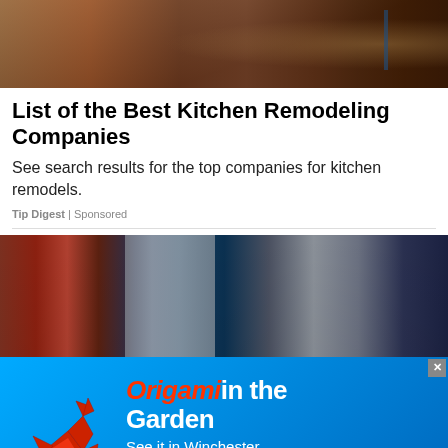[Figure (photo): Kitchen interior with wooden cabinets and warm brown tones, partial view of a hallway in background]
List of the Best Kitchen Remodeling Companies
See search results for the top companies for kitchen remodels.
Tip Digest | Sponsored
[Figure (photo): Bookshelf with books and a small black security camera placed among books against a teal/dark blue wall, with a gray tablet-like device visible]
[Figure (infographic): Origami in the Garden advertisement banner with a red origami deer figure, blue background, text 'Origami in the Garden See it in Winchester' and a red 'Get Discount Tickets' button]